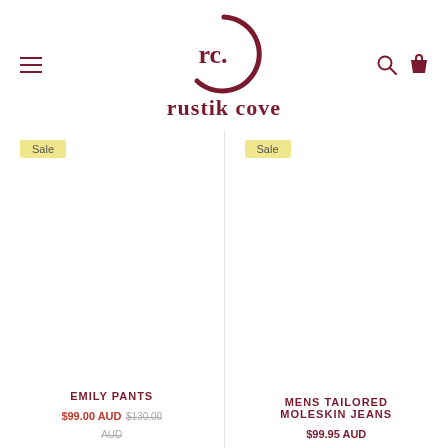[Figure (logo): Rustik Cove brand logo — circular 'rc.' monogram above the text 'rustik cove' in dark red serif font]
Sale
Sale
EMILY PANTS
$99.00 AUD $130.00 AUD
MENS TAILORED MOLESKIN JEANS
$99.95 AUD